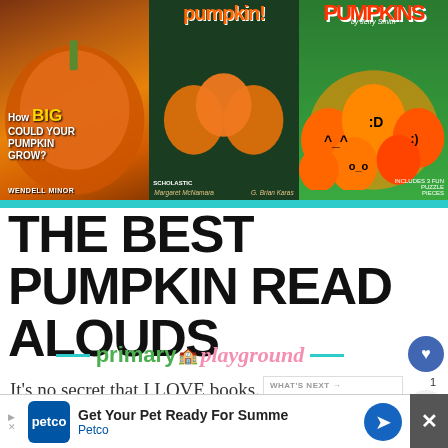[Figure (photo): Three pumpkin book covers side by side: 'How Big Could Your Pumpkin Grow?' by Wendell Minor, 'Pumpkin!' by Margaret McNamara and G. Brian Karas, and 'Pumpkins' by Jerry Smith]
THE BEST PUMPKIN READ ALOUDS
[Figure (logo): Primary Playground brand logo with teal dashes and playground icon]
It's no secret that I LOVE books. Throw in pumpkins and fall fun and you have some of my favorite types of books. I'm sharing with you tod...
[Figure (screenshot): Advertisement bar: Petco - Get Your Pet Ready For Summer, with blue arrow button and close X]
[Figure (screenshot): What's Next panel: The Best Butterfly...]